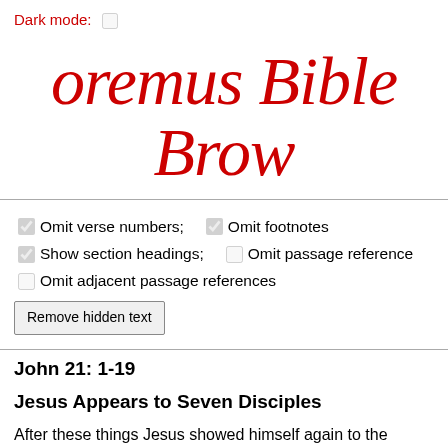Dark mode: ☐
oremus Bible Brow
☑ Omit verse numbers; ☑ Omit footnotes
☑ Show section headings; ☐ Omit passage reference
☐ Omit adjacent passage references
[Remove hidden text]
John 21: 1-19
Jesus Appears to Seven Disciples
After these things Jesus showed himself again to the disciples Tiberias; and he showed himself in this way. Gathered there to Peter, Thomas called the Twin, Nathanael of Cana in Galilee, t and two others of his disciples. Simon Peter said to them, 'I am said to him, 'We will go with you.' They went out and got into th